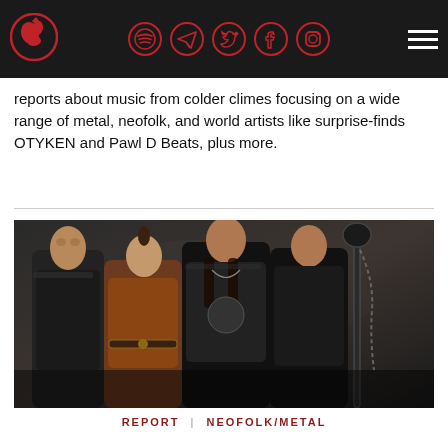Navigation bar with logo and social media icons (Spotify, Telegram, Twitter, Facebook, Instagram) and hamburger menu
reports about music from colder climes focusing on a wide range of metal, neofolk, and world artists like surprise-finds OTYKEN and Pawl D Beats, plus more.
[Figure (photo): Four Asian musicians in dark/leather outfits posing in a dramatic style. One holds a staff/weapon. Dark moody background.]
REPORT | NEOFOLK/METAL